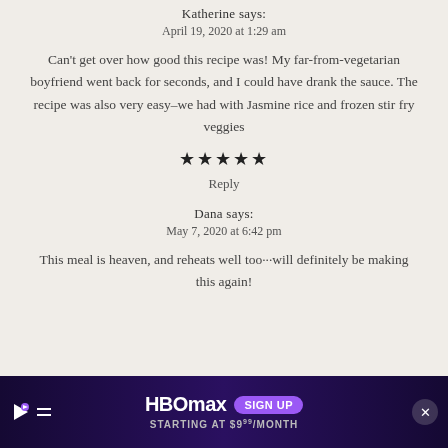Katherine says:
April 19, 2020 at 1:29 am
Can't get over how good this recipe was! My far-from-vegetarian boyfriend went back for seconds, and I could have drank the sauce. The recipe was also very easy–we had with Jasmine rice and frozen stir fry veggies
★★★★★
Reply
Dana says:
May 7, 2020 at 6:42 pm
This meal is heaven, and reheats well too···will definitely be making this again!
[Figure (other): HBOMax advertisement banner at the bottom of the page with purple/dark gradient background, HBO Max logo, SIGN UP button, and STARTING AT $9.99/MONTH text]